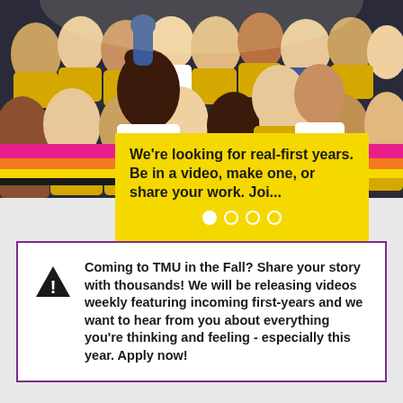[Figure (photo): Photo of a crowd of university students cheering at a sporting event, wearing gold and blue colors]
We're looking for real-first years. Be in a video, make one, or share your work. Joi...
Coming to TMU in the Fall? Share your story with thousands! We will be releasing videos weekly featuring incoming first-years and we want to hear from you about everything you're thinking and feeling - especially this year. Apply now!